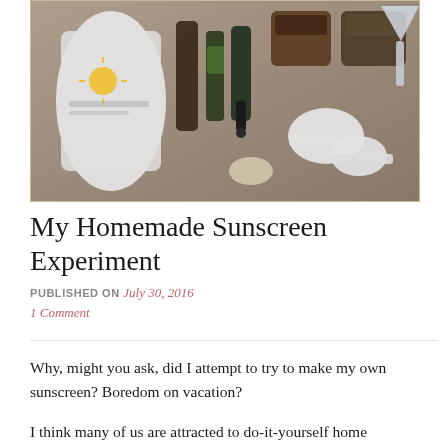[Figure (photo): Photo of homemade sunscreen ingredients on a granite countertop: a bag of zinc oxide powder, several dark glass bottles of oils/essential oils, a jar of coconut oil, a jar of shea butter, measuring spoons, and other supplies.]
My Homemade Sunscreen Experiment
PUBLISHED ON July 30, 2016
1 Comment
Why, might you ask, did I attempt to try to make my own sunscreen?  Boredom on vacation?
I think many of us are attracted to do-it-yourself home